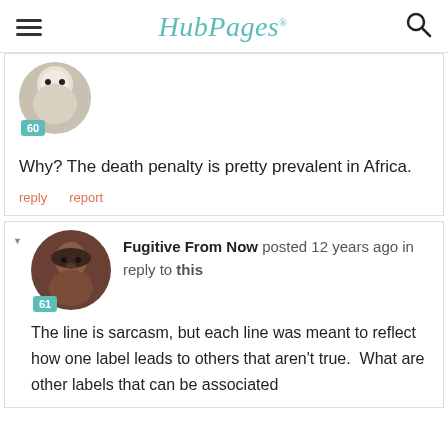HubPages
[Figure (photo): Circular avatar of a white fluffy dog with badge number 60]
Why? The death penalty is pretty prevalent in Africa.
reply   report
[Figure (photo): Circular avatar of a man with a dark cap, badge number 61]
Fugitive From Now posted 12 years ago in reply to this
The line is sarcasm, but each line was meant to reflect how one label leads to others that aren't true.  What are other labels that can be associated with Pro-life or any view — and limiting associated